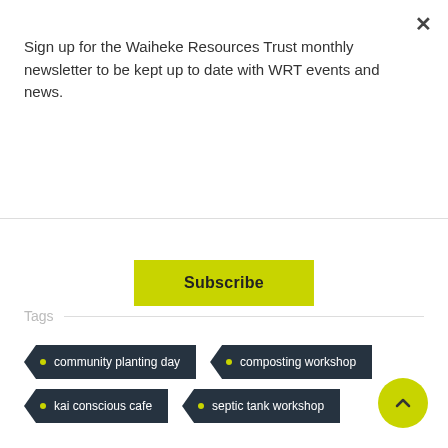Sign up for the Waiheke Resources Trust monthly newsletter to be kept up to date with WRT events and news.
Subscribe
Tags
community planting day
composting workshop
kai conscious cafe
septic tank workshop